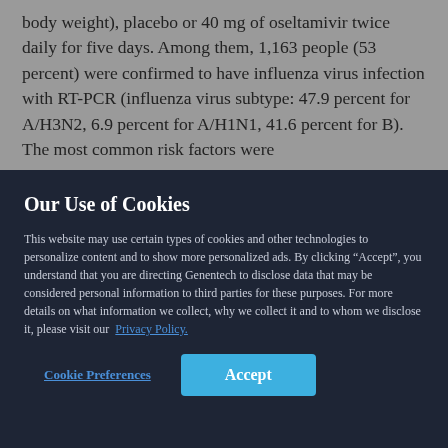body weight), placebo or 40 mg of oseltamivir twice daily for five days. Among them, 1,163 people (53 percent) were confirmed to have influenza virus infection with RT-PCR (influenza virus subtype: 47.9 percent for A/H3N2, 6.9 percent for A/H1N1, 41.6 percent for B). The most common risk factors were
Our Use of Cookies
This website may use certain types of cookies and other technologies to personalize content and to show more personalized ads. By clicking “Accept”, you understand that you are directing Genentech to disclose data that may be considered personal information to third parties for these purposes. For more details on what information we collect, why we collect it and to whom we disclose it, please visit our Privacy Policy.